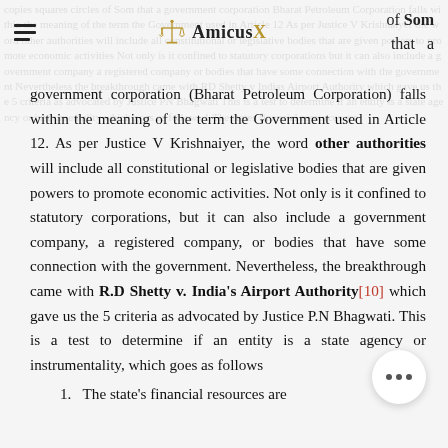AmicusX — of Som that a
government corporation (Bharat Petroleum Corporation) falls within the meaning of the term the Government used in Article 12. As per Justice V Krishnaiyer, the word other authorities will include all constitutional or legislative bodies that are given powers to promote economic activities. Not only is it confined to statutory corporations, but it can also include a government company, a registered company, or bodies that have some connection with the government. Nevertheless, the breakthrough came with R.D Shetty v. India's Airport Authority[10] which gave us the 5 criteria as advocated by Justice P.N Bhagwati. This is a test to determine if an entity is a state agency or instrumentality, which goes as follows
1.  The state's financial resources are